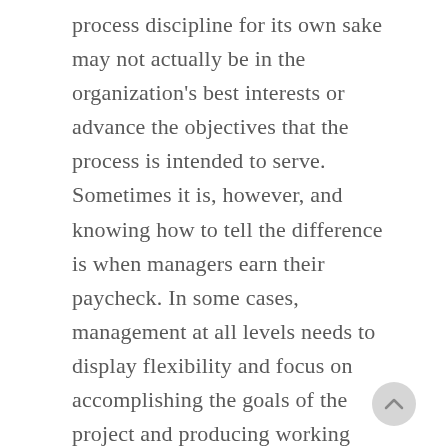process discipline for its own sake may not actually be in the organization's best interests or advance the objectives that the process is intended to serve. Sometimes it is, however, and knowing how to tell the difference is when managers earn their paycheck. In some cases, management at all levels needs to display flexibility and focus on accomplishing the goals of the project and producing working software even if they must violate their own process. When this happens, the organization must con a follow-up to assess what happened and